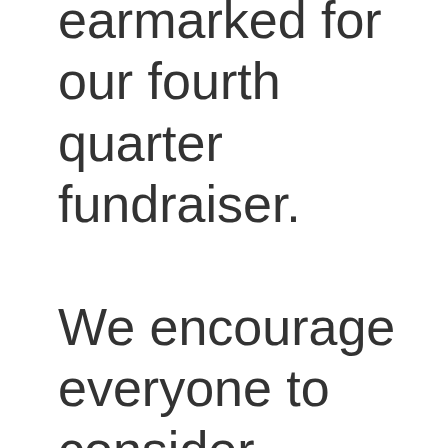amount will be earmarked for our fourth quarter fundraiser.

We encourage everyone to consider